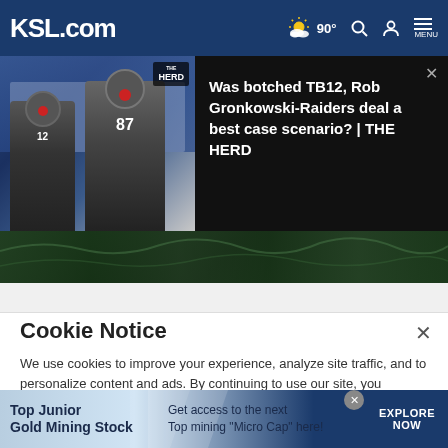KSL.com  90° MENU
[Figure (screenshot): Video thumbnail showing two Tampa Bay Buccaneers players (one wearing #87) with THE HERD badge overlay, black background, video title text on right side]
Was botched TB12, Rob Gronkowski-Raiders deal a best case scenario? | THE HERD
[Figure (photo): Satellite aerial view strip showing dark green terrain/landscape]
Cookie Notice
We use cookies to improve your experience, analyze site traffic, and to personalize content and ads. By continuing to use our site, you consent to our use of cookies. Please visit our Terms of Use and  Privacy Policy for more information
[Figure (screenshot): Advertisement banner: Top Junior Gold Mining Stock - Get access to the next Top mining "Micro Cap" here! - EXPLORE NOW]